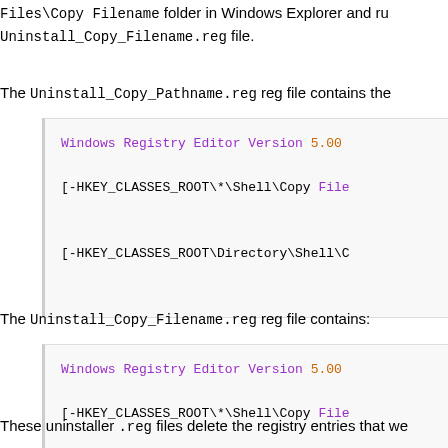Files\Copy Filename folder in Windows Explorer and run the Uninstall_Copy_Filename.reg file.
The Uninstall_Copy_Pathname.reg reg file contains the
Windows Registry Editor Version 5.00
[-HKEY_CLASSES_ROOT\*\Shell\Copy File

[-HKEY_CLASSES_ROOT\Directory\Shell\C
The Uninstall_Copy_Filename.reg reg file contains:
Windows Registry Editor Version 5.00
[-HKEY_CLASSES_ROOT\*\Shell\Copy File

[-HKEY_CLASSES_ROOT\Directory\Shell\C
These uninstaller .reg files delete the registry entries that we